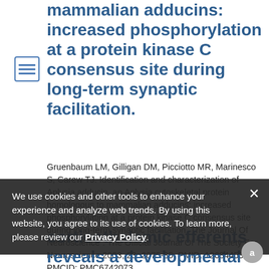mammalian adducins: increased phosphorylation at a protein kinase C consensus site during long-term synaptic facilitation.
Gruenbaum LM, Gilligan DM, Picciotto MR, Marinesco S, Carew TJ. Identification and characterization of Aplysia adducin, an Aplysia cytoskeletal protein homologous to mammalian adducins: increased phosphorylation at a protein kinase C consensus site during long-term synaptic facilitation. The Journal Of Neuroscience : The Official Journal Of The Society For Neuroscience 2003, 23: 2675-85. PMID: 12684453. PMCID: PMC6742073.
We use cookies and other tools to enhance your experience and analyze web trends. By using this website, you agree to its use of cookies. To learn more, please review our Privacy Policy.
corticothalamic efferents reveals a developmental role for nicotinic